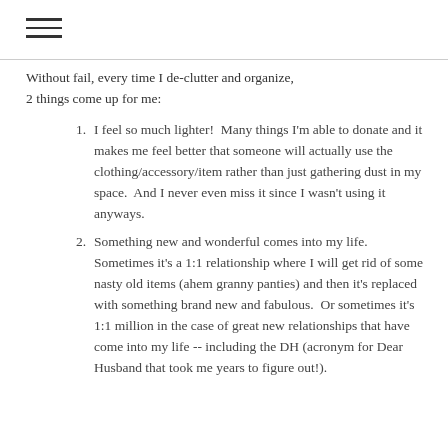Without fail, every time I de-clutter and organize, 2 things come up for me:
I feel so much lighter!  Many things I'm able to donate and it makes me feel better that someone will actually use the clothing/accessory/item rather than just gathering dust in my space.  And I never even miss it since I wasn't using it anyways.
Something new and wonderful comes into my life.  Sometimes it's a 1:1 relationship where I will get rid of some nasty old items (ahem granny panties) and then it's replaced with something brand new and fabulous.  Or sometimes it's 1:1 million in the case of great new relationships that have come into my life -- including the DH (acronym for Dear Husband that took me years to figure out!).